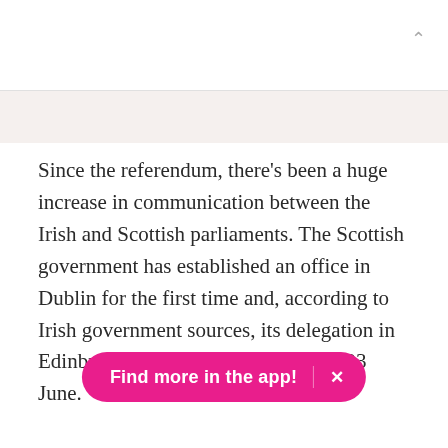Since the referendum, there's been a huge increase in communication between the Irish and Scottish parliaments. The Scottish government has established an office in Dublin for the first time and, according to Irish government sources, its delegation in Edinburgh has doubled in size since 23 June.
The parliament's joint committee on the EU constantly engages with other EU member states, and its members told BuzzFeed News they've taken on the respo[nsibility of protecting the]interests both of Scotland and Northern Ireland, which also
[Figure (other): Pink pill-shaped toast notification overlay reading 'Find more in the app!' with an X close button]